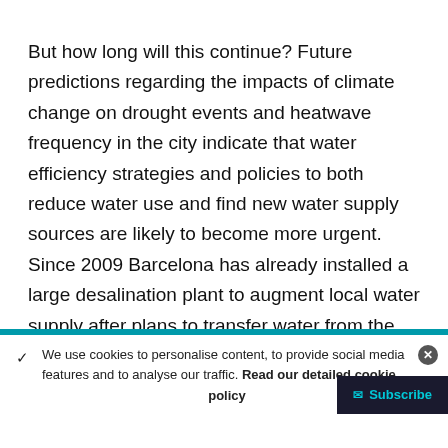But how long will this continue? Future predictions regarding the impacts of climate change on drought events and heatwave frequency in the city indicate that water efficiency strategies and policies to both reduce water use and find new water supply sources are likely to become more urgent. Since 2009 Barcelona has already installed a large desalination plant to augment local water supply after plans to transfer water from the river Ebro, some 180 miles away, stalled. Water is increasingly viewed, and pitched, as a scarce resource.
✓ We use cookies to personalise content, to provide social media features and to analyse our traffic. Read our detailed cookie policy